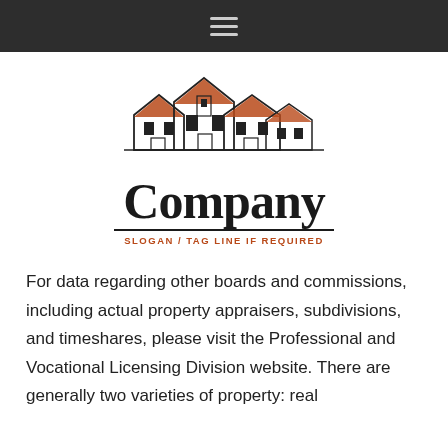☰
[Figure (logo): Real estate company logo with illustrated houses (outline style with terracotta/red roofs) above the word 'Company' in bold serif font, with tagline 'SLOGAN / TAG LINE IF REQUIRED' in bold orange/terracotta text beneath a horizontal rule.]
For data regarding other boards and commissions, including actual property appraisers, subdivisions, and timeshares, please visit the Professional and Vocational Licensing Division website. There are generally two varieties of property: real